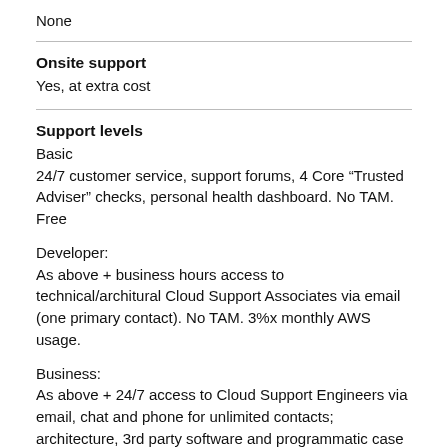None
Onsite support
Yes, at extra cost
Support levels
Basic
24/7 customer service, support forums, 4 Core “Trusted Adviser” checks, personal health dashboard. No TAM. Free
Developer:
As above + business hours access to technical/architural Cloud Support Associates via email (one primary contact). No TAM. 3%x monthly AWS usage.
Business:
As above + 24/7 access to Cloud Support Engineers via email, chat and phone for unlimited contacts; architecture, 3rd party software and programmatic case management support. TAM. Greater of $100 or spend-dependent percentage (pm).